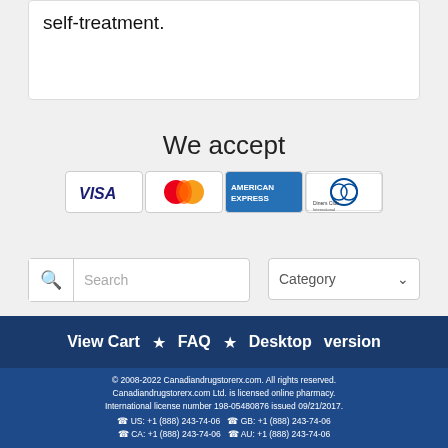self-treatment.
[Figure (infographic): Payment card icons: Visa, MasterCard, American Express, Diners Club]
We accept
Search (search box) and Category (dropdown)
View Cart ★ FAQ ★ Desktop version
© 2008-2022 Canadiandrugstorerx.com. All rights reserved. Canadiandrugstorerx.com Ltd. is licensed online pharmacy. International license number 198-05480876 issued 09/21/2017. ☎ US: +1 (888) 243-74-06 ☎ GB: +1 (888) 243-74-06 ☎ CA: +1 (888) 243-74-06 ☎ AU: +1 (888) 243-74-06